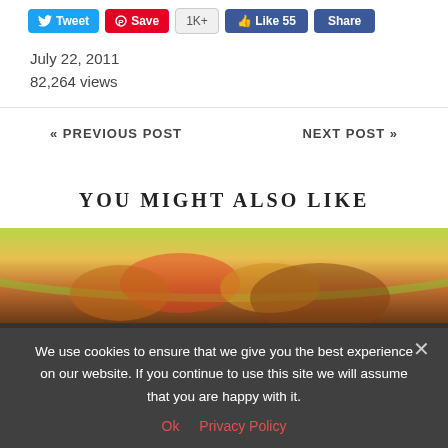[Figure (screenshot): Social sharing buttons: Tweet (blue), Save (red/Pinterest), 1K+ (gray), Like 55 (Facebook blue), Share (Facebook blue)]
July 22, 2011
82,264 views
« PREVIOUS POST
NEXT POST »
YOU MIGHT ALSO LIKE
[Figure (photo): Food photo showing a plate with colorful ingredients]
We use cookies to ensure that we give you the best experience on our website. If you continue to use this site we will assume that you are happy with it.
Ok  Privacy Policy